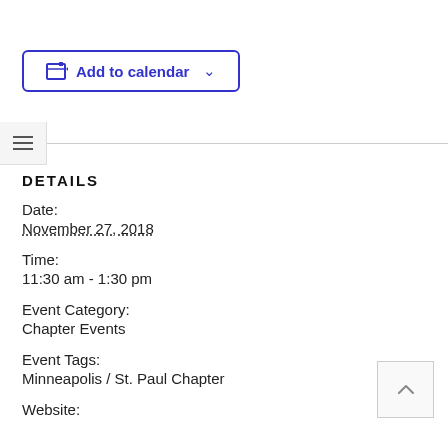[Figure (other): Add to calendar button with calendar icon and dropdown chevron, blue border]
[Figure (other): Hamburger menu icon with horizontal separator line]
DETAILS
Date:
November 27, 2018
Time:
11:30 am - 1:30 pm
Event Category:
Chapter Events
Event Tags:
Minneapolis / St. Paul Chapter
Website:
[Figure (other): Back to top button with upward chevron arrow]